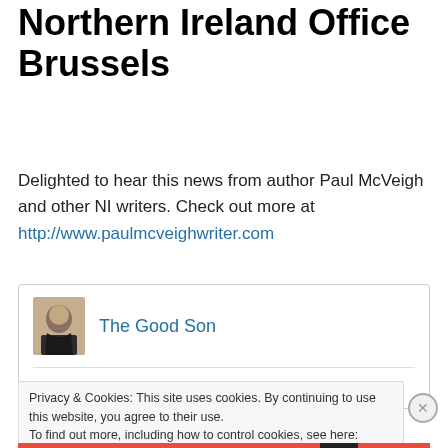Northern Ireland Office Brussels
Delighted to hear this news from author Paul McVeigh and other NI writers. Check out more at http://www.paulmcveighwriter.com
[Figure (screenshot): Embedded card showing The Good Son profile with avatar photo and post title 'The Quarter Hour Summer']
Privacy & Cookies: This site uses cookies. By continuing to use this website, you agree to their use.
To find out more, including how to control cookies, see here: Cookie Policy
Close and accept